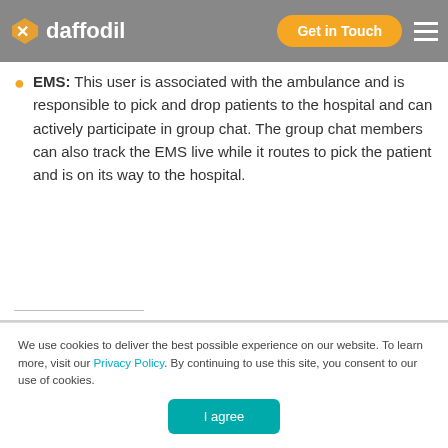a case and its management | daffodil | Get in Touch
EMS: This user is associated with the ambulance and is responsible to pick and drop patients to the hospital and can actively participate in group chat. The group chat members can also track the EMS live while it routes to pick the patient and is on its way to the hospital.
[Figure (photo): Partial view of a smartphone screen showing top of device with dark rounded top bezel, over a grey background]
We use cookies to deliver the best possible experience on our website. To learn more, visit our Privacy Policy. By continuing to use this site, you consent to our use of cookies.
I agree